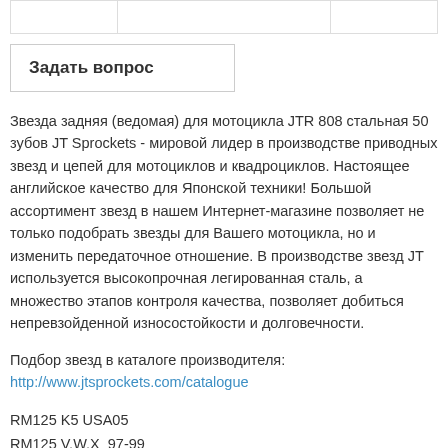|  |  |  |
| --- | --- | --- |
|  |  |  |
Задать вопрос
Звезда задняя (ведомая) для мотоцикла JTR 808 стальная 50 зубов JT Sprockets - мировой лидер в производстве приводных звезд и цепей для мотоциклов и квадроциклов. Настоящее английское качество для Японской техники! Большой ассортимент звезд в нашем Интернет-магазине позволяет не только подобрать звезды для Вашего мотоцикла, но и изменить передаточное отношение. В производстве звезд JT используется высокопрочная легированная сталь, а множество этапов контроля качества, позволяет добиться непревзойденной износостойкости и долговечности.
Подбор звезд в каталоге производителя:
http://www.jtsprockets.com/catalogue
RM125 K5 USA05
RM125 V,W,X  97-99
RM125 V/W/X USA97-99